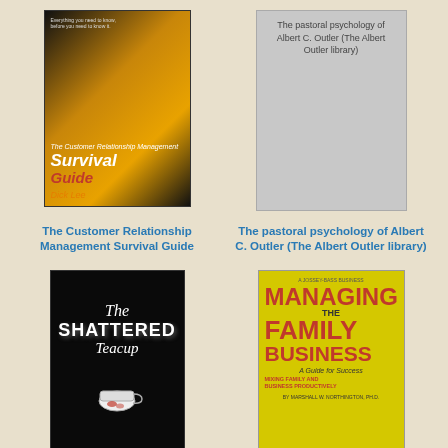[Figure (photo): Book cover: The Customer Relationship Management Survival Guide by Dick Lee, dark background with orange/yellow flames]
[Figure (photo): Book cover placeholder (gray): The pastoral psychology of Albert C. Outler (The Albert Outler library)]
The Customer Relationship Management Survival Guide
The pastoral psychology of Albert C. Outler (The Albert Outler library)
[Figure (photo): Book cover: The Shattered Teacup, dark/black background with white stylized text and broken teacup image]
[Figure (photo): Book cover: Managing the Family Business - A Guide for Success, yellow background with red large text]